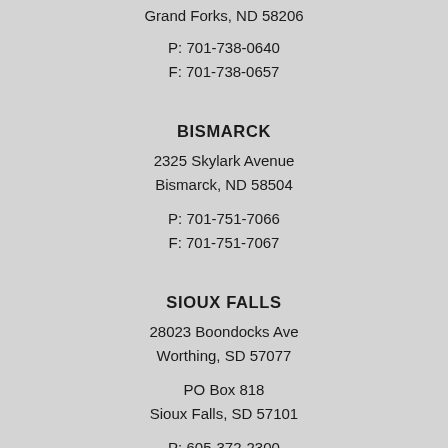Grand Forks, ND 58206
P: 701-738-0640
F: 701-738-0657
BISMARCK
2325 Skylark Avenue
Bismarck, ND 58504
P: 701-751-7066
F: 701-751-7067
SIOUX FALLS
28023 Boondocks Ave
Worthing, SD 57077
PO Box 818
Sioux Falls, SD 57101
P: 605-372-2300
F: 605-372-2304
MONTANA
249 Shepherd Trail #B